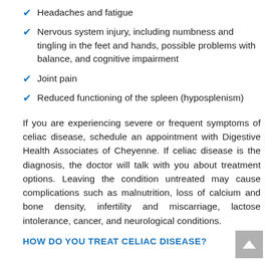Headaches and fatigue
Nervous system injury, including numbness and tingling in the feet and hands, possible problems with balance, and cognitive impairment
Joint pain
Reduced functioning of the spleen (hyposplenism)
If you are experiencing severe or frequent symptoms of celiac disease, schedule an appointment with Digestive Health Associates of Cheyenne. If celiac disease is the diagnosis, the doctor will talk with you about treatment options. Leaving the condition untreated may cause complications such as malnutrition, loss of calcium and bone density, infertility and miscarriage, lactose intolerance, cancer, and neurological conditions.
HOW DO YOU TREAT CELIAC DISEASE?